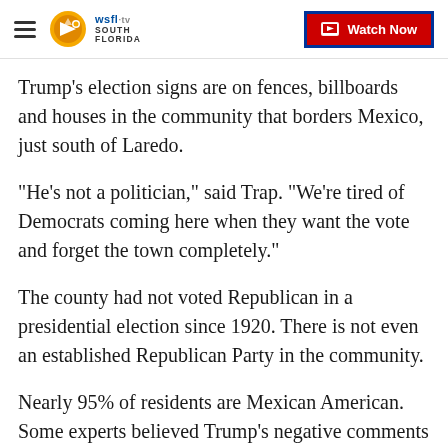WSFL-TV South Florida | Watch Now
Trump's election signs are on fences, billboards and houses in the community that borders Mexico, just south of Laredo.
“He’s not a politician,” said Trap. “We’re tired of Democrats coming here when they want the vote and forget the town completely.”
The county had not voted Republican in a presidential election since 1920. There is not even an established Republican Party in the community.
Nearly 95% of residents are Mexican American. Some experts believed Trump’s negative comments of immigrants in the past would have kept Texas